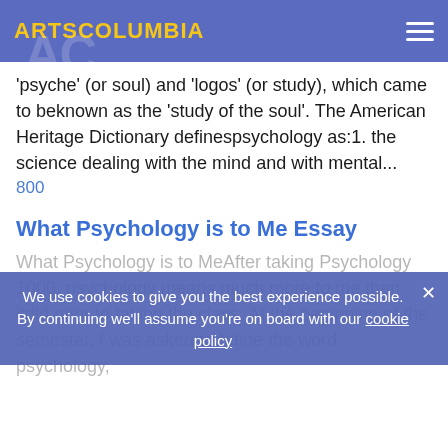ARTSCOLUMBIA
'psyche' (or soul) and 'logos' (or study), which came to beknown as the 'study of the soul'. The American Heritage Dictionary definespsychology as:1. the science dealing with the mind and with mental...
800
What Psychology is to Me Essay
We use cookies to give you the best experience possible. By continuing we'll assume you're on board with our cookie policy
What Psychology is to MeAfter taking Psychology 1000, psychology means much more to me than itdid prior to taking the class. At the beginning of the semester, I was asked todefine the word psychology, and the best definition I could muster was simplythe study of the mind and how it works. After examining the large...
500